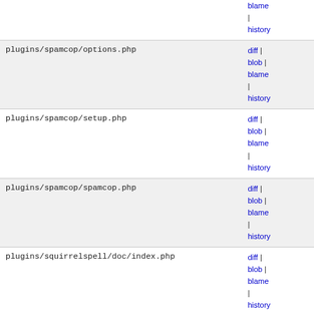| Filename | Actions |
| --- | --- |
| (top partial row) | blame | history |
| plugins/spamcop/options.php | diff | blob | blame | history |
| plugins/spamcop/setup.php | diff | blob | blame | history |
| plugins/spamcop/spamcop.php | diff | blob | blame | history |
| plugins/squirrelspell/doc/index.php | diff | blob | blame | history |
| plugins/squirrelspell/index.php | diff | blob | blame | history |
| plugins/squirrelspell/js/index.php | diff | blob | blame | history |
| plugins/squirrelspell/modules/index.php | diff | blob | blame | history |
| plugins/squirrelspell/setup.php (partial) | diff | |